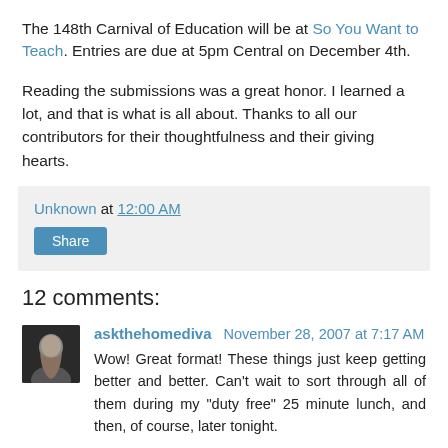The 148th Carnival of Education will be at So You Want to Teach. Entries are due at 5pm Central on December 4th.
Reading the submissions was a great honor. I learned a lot, and that is what is all about. Thanks to all our contributors for their thoughtfulness and their giving hearts.
Unknown at 12:00 AM
Share
12 comments:
askthehomediva November 28, 2007 at 7:17 AM
Wow! Great format! These things just keep getting better and better. Can't wait to sort through all of them during my "duty free" 25 minute lunch, and then, of course, later tonight.
I feel honored to share an award with Mr. Teacher. He's